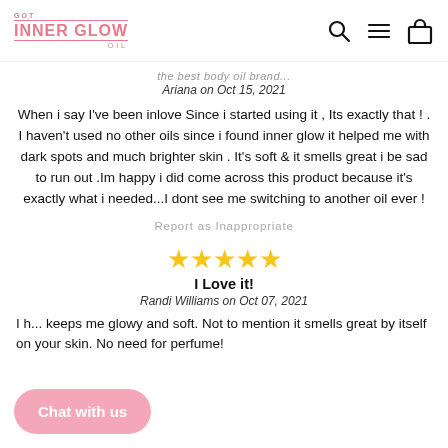GOT INNER GLOW OIL
the best body oil brand...
Ariana on Oct 15, 2021
When i say I've been inlove Since i started using it , Its exactly that ! . I haven't used no other oils since i found inner glow it helped me with dark spots and much brighter skin . It's soft & it smells great i be sad to run out .Im happy i did come across this product because it's exactly what i needed...I dont see me switching to another oil ever !
Report as Inappropriate
[Figure (other): Five gold star rating icons]
I Love it!
Randi Williams on Oct 07, 2021
I h... keeps me glowy and soft. Not to mention it smells great by itself on your skin. No need for perfume!